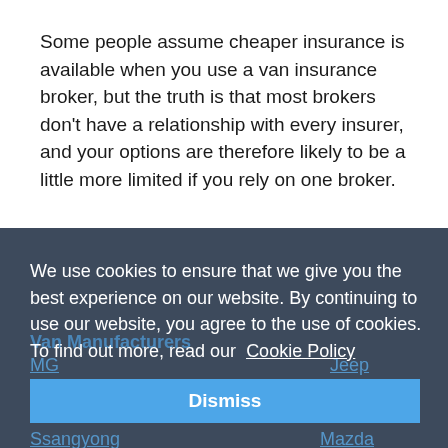Some people assume cheaper insurance is available when you use a van insurance broker, but the truth is that most brokers don't have a relationship with every insurer, and your options are therefore likely to be a little more limited if you rely on one broker.
We use cookies to ensure that we give you the best experience on our website. By continuing to use our website, you agree to the use of cookies. To find out more, read our Cookie Policy
Van Manufacturers
MG
Jeep
EBRO
Renault
Ssangyong
Mazda